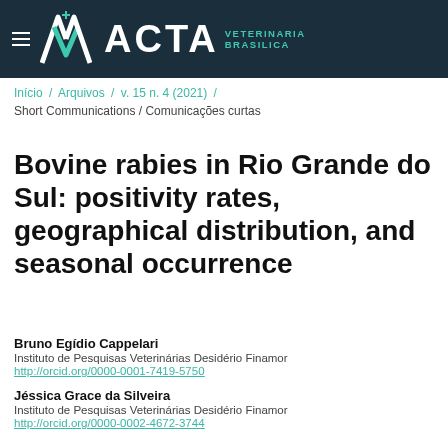ACTA VETERINARIA BRASILICA
Início / Arquivos / v. 15 n. 4 (2021) / Short Communications / Comunicações curtas
Bovine rabies in Rio Grande do Sul: positivity rates, geographical distribution, and seasonal occurrence
Bruno Egídio Cappelari
Instituto de Pesquisas Veterinárias Desidério Finamor
http://orcid.org/0000-0001-7419-5750
Jéssica Grace da Silveira
Instituto de Pesquisas Veterinárias Desidério Finamor
http://orcid.org/0000-0002-4672-3744